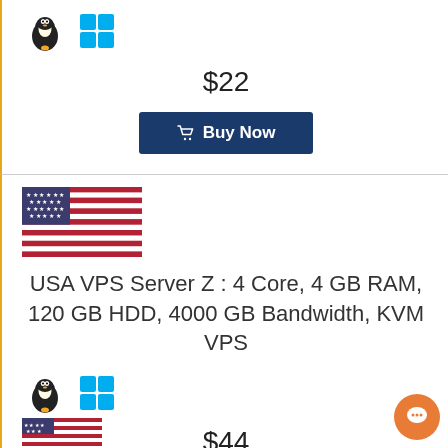[Figure (illustration): Linux Tux and Windows logo OS icons in top card]
$22
[Figure (illustration): Buy Now button in dark blue]
[Figure (illustration): USA flag]
USA VPS Server Z : 4 Core, 4 GB RAM, 120 GB HDD, 4000 GB Bandwidth, KVM VPS
[Figure (illustration): Linux Tux and Windows logo OS icons in bottom card]
$44
[Figure (illustration): Buy Now button in dark blue]
[Figure (illustration): Partial USA flag at bottom]
[Figure (illustration): Orange chat bubble icon bottom right]